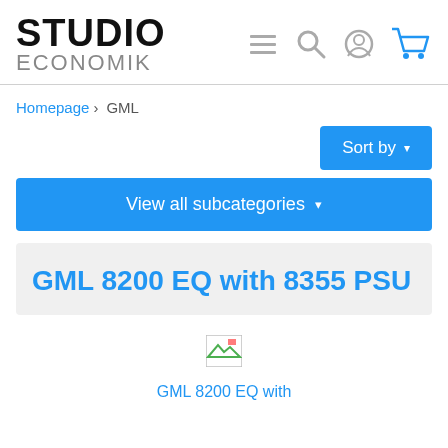[Figure (logo): Studio Economik logo with navigation icons (menu, search, user, cart)]
Homepage › GML
[Figure (screenshot): Sort by dropdown button]
View all subcategories ▾
GML 8200 EQ with 8355 PSU
[Figure (photo): Broken/loading product image thumbnail]
GML 8200 EQ with